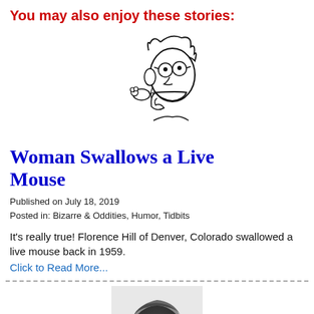You may also enjoy these stories:
[Figure (illustration): Cartoon illustration of a man with wild hair and glasses looking surprised, with a mouse near his mouth]
Woman Swallows a Live Mouse
Published on July 18, 2019
Posted in: Bizarre & Oddities, Humor, Tidbits
It's really true! Florence Hill of Denver, Colorado swallowed a live mouse back in 1959.
Click to Read More...
[Figure (photo): Partial photo of a person's head, showing dark hair, cropped at bottom of page]